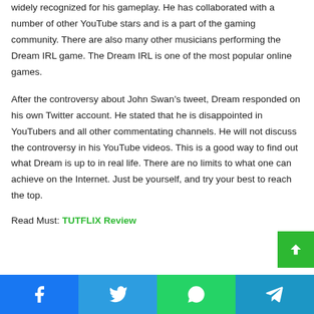widely recognized for his gameplay. He has collaborated with a number of other YouTube stars and is a part of the gaming community. There are also many other musicians performing the Dream IRL game. The Dream IRL is one of the most popular online games.
After the controversy about John Swan's tweet, Dream responded on his own Twitter account. He stated that he is disappointed in YouTubers and all other commentating channels. He will not discuss the controversy in his YouTube videos. This is a good way to find out what Dream is up to in real life. There are no limits to what one can achieve on the Internet. Just be yourself, and try your best to reach the top.
Read Must: TUTFLIX Review
[Figure (other): Social share bar with Facebook, Twitter, WhatsApp, and Telegram buttons]